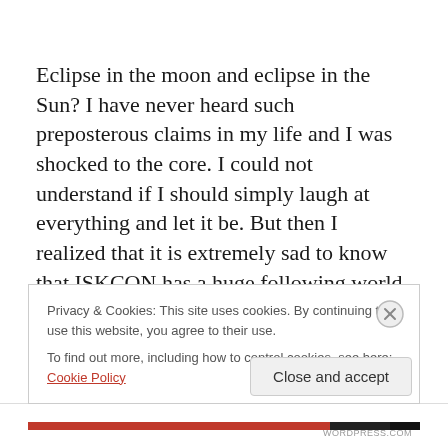Eclipse in the moon and eclipse in the Sun? I have never heard such preposterous claims in my life and I was shocked to the core. I could not understand if I should simply laugh at everything and let it be. But then I realized that it is extremely sad to know that ISKCON has a huge following world over and this is what they must be preaching to their innocent unquestioning followers. so this
Privacy & Cookies: This site uses cookies. By continuing to use this website, you agree to their use.
To find out more, including how to control cookies, see here: Cookie Policy
Close and accept